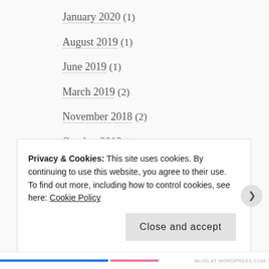January 2020 (1)
August 2019 (1)
June 2019 (1)
March 2019 (2)
November 2018 (2)
October 2018 (1)
May 2018 (1)
April 2018 (1)
March 2018 (1)
February 2018 (1)
Privacy & Cookies: This site uses cookies. By continuing to use this website, you agree to their use.
To find out more, including how to control cookies, see here: Cookie Policy
Close and accept